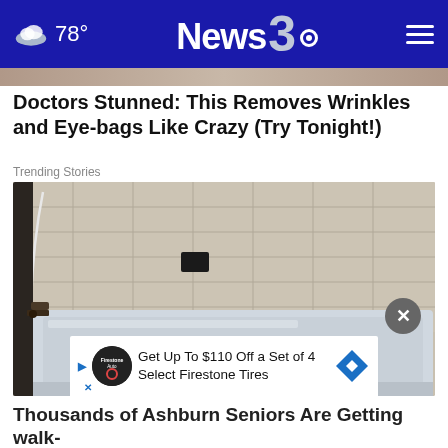78° News3
[Figure (screenshot): Top partial image strip (cropped article image)]
Doctors Stunned: This Removes Wrinkles and Eye-bags Like Crazy (Try Tonight!)
Trending Stories
[Figure (photo): Photo of a residential bathtub against tiled wall, with faucet on left side and small black fixture on back wall. Ad banner at bottom: 'Get Up To $110 Off a Set of 4 Select Firestone Tires' with Firestone Auto logo and blue diamond arrow. Close button X in dark circle.]
Thousands of Ashburn Seniors Are Getting walk-